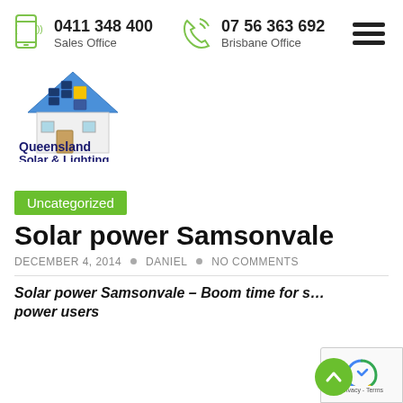0411 348 400 Sales Office  07 56 363 692 Brisbane Office
[Figure (logo): Queensland Solar & Lighting logo with house and solar panels icon, text reads 'Queensland Solar & Lighting']
Uncategorized
Solar power Samsonvale
DECEMBER 4, 2014 • DANIEL • NO COMMENTS
Solar power Samsonvale – Boom time for solar power users